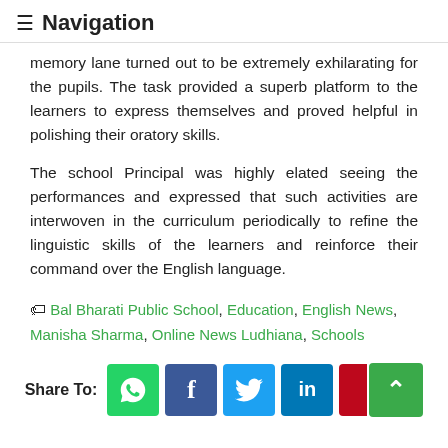≡ Navigation
memory lane turned out to be extremely exhilarating for the pupils. The task provided a superb platform to the learners to express themselves and proved helpful in polishing their oratory skills.
The school Principal was highly elated seeing the performances and expressed that such activities are interwoven in the curriculum periodically to refine the linguistic skills of the learners and reinforce their command over the English language.
🏷 Bal Bharati Public School, Education, English News, Manisha Sharma, Online News Ludhiana, Schools
Share To: [WhatsApp] [Facebook] [Twitter] [LinkedIn] [Pinterest] [Up]